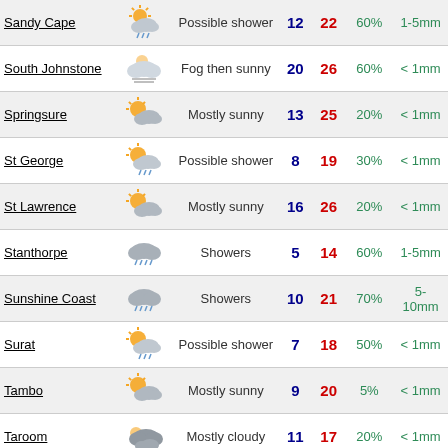| Location | Icon | Description | Low | High | Rain% | Rain mm |
| --- | --- | --- | --- | --- | --- | --- |
| Sandy Cape | Possible shower icon | Possible shower | 12 | 22 | 60% | 1-5mm |
| South Johnstone | Fog then sunny icon | Fog then sunny | 20 | 26 | 60% | < 1mm |
| Springsure | Mostly sunny icon | Mostly sunny | 13 | 25 | 20% | < 1mm |
| St George | Possible shower icon | Possible shower | 8 | 19 | 30% | < 1mm |
| St Lawrence | Mostly sunny icon | Mostly sunny | 16 | 26 | 20% | < 1mm |
| Stanthorpe | Showers icon | Showers | 5 | 14 | 60% | 1-5mm |
| Sunshine Coast | Showers icon | Showers | 10 | 21 | 70% | 5-10mm |
| Surat | Possible shower icon | Possible shower | 7 | 18 | 50% | < 1mm |
| Tambo | Mostly sunny icon | Mostly sunny | 9 | 20 | 5% | < 1mm |
| Taroom | Mostly cloudy icon | Mostly cloudy | 11 | 17 | 20% | < 1mm |
| Te Kowai | Mostly sunny icon | Mostly sunny | 16 | 26 | 30% | < 1mm |